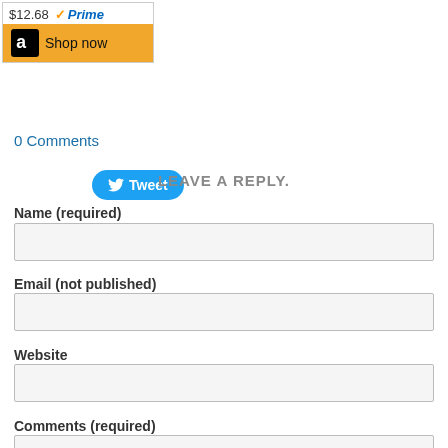[Figure (screenshot): Amazon product widget showing $12.68 price with Prime badge and Shop now button]
[Figure (screenshot): Twitter Tweet button (blue rounded rectangle with bird icon and 'Tweet' text)]
0 Comments
LEAVE A REPLY.
Name (required)
Email (not published)
Website
Comments (required)